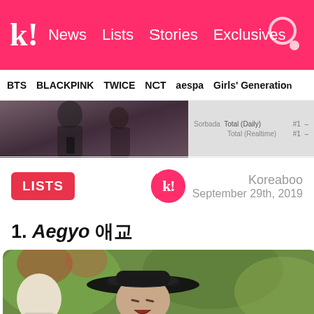k! News Lists Stories Exclusives
BTS BLACKPINK TWICE NCT aespa Girls' Generation
[Figure (screenshot): Partial image strip: left side shows a person holding something (dark tones), right side shows a chart with Sorbada Total (Daily) #1 and Total (Realtime) #1]
LISTS
Koreaboo
September 29th, 2019
1. Aegyo 애교
[Figure (photo): A young man wearing a black wide-brim hat making a cute/silly face with fists raised, with another person with white/blonde hair partially visible on the left, blurred green and red foliage background]